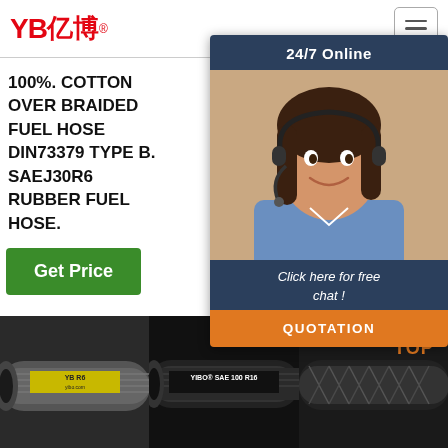YB亿博
100%. COTTON OVER BRAIDED FUEL HOSE DIN73379 TYPE B. SAEJ30R6 RUBBER FUEL HOSE.
Range: Air: +158°F (+7...°C) Wet +18... Wo... 257 +12... Ser... Par... ID H... Wo...
[Figure (screenshot): 24/7 Online chat popup with female agent photo. Bottom shows 'Click here for free chat!' and orange QUOTATION button.]
Get Price
G...
[Figure (photo): Three rubber hose product images in a row at the bottom: grey braided hose (YB R6), YIBO SAE 100 R16 black hose, black wire-braided hose. TOP arrow icon on right.]